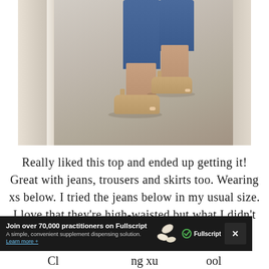[Figure (photo): Photo of a person's lower legs wearing blue cuffed jeans and nude/tan strappy flat sandals, standing on a beige/grey carpet in what appears to be a hallway or dressing room with a door frame visible on the left.]
Really liked this top and ended up getting it! Great with jeans, trousers and skirts too. Wearing xs below. I tried the jeans below in my usual size. I love that they're high-waisted but what I didn't like 1) they
[Figure (screenshot): Advertisement bar for Fullscript. Text reads: 'Join over 70,000 practitioners on Fullscript. A simple, convenient supplement dispensing solution. Learn more +' with Fullscript logo and pill imagery. A close/dismiss X button is on the right.]